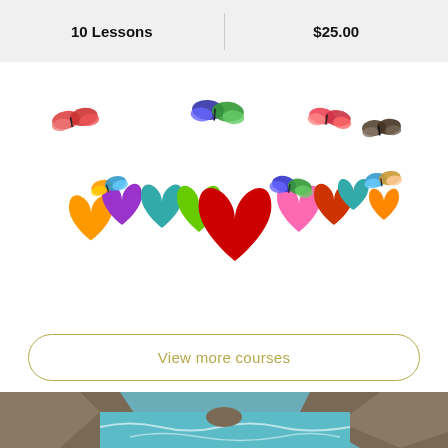| Lessons | Price |
| --- | --- |
| 10 Lessons | $25.00 |
[Figure (illustration): Colorful 3D hearts of various colors (red, purple, teal, green, pink, orange) arranged in a row with decorative butterflies flying above and around them]
View more courses
[Figure (photo): Coastal seascape photo showing rocky cliffs, turquoise water, and waves crashing, viewed through a rocky opening]